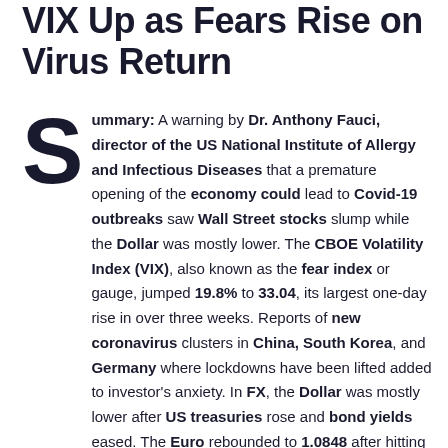VIX Up as Fears Rise on Virus Return
Summary: A warning by Dr. Anthony Fauci, director of the US National Institute of Allergy and Infectious Diseases that a premature opening of the economy could lead to Covid-19 outbreaks saw Wall Street stocks slump while the Dollar was mostly lower. The CBOE Volatility Index (VIX), also known as the fear index or gauge, jumped 19.8% to 33.04, its largest one-day rise in over three weeks. Reports of new coronavirus clusters in China, South Korea, and Germany where lockdowns have been lifted added to investor's anxiety. In FX, the Dollar was mostly lower after US treasuries rose and bond yields eased. The Euro rebounded to 1.0848 after hitting an overnight low of 1.07843, up 0.34% against the Dollar. Sterling...